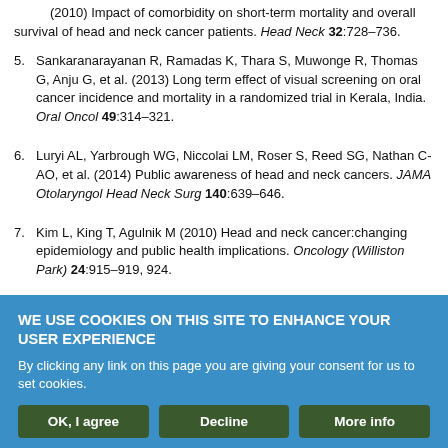(2010) Impact of comorbidity on short-term mortality and overall survival of head and neck cancer patients. Head Neck 32:728–736.
5. Sankaranarayanan R, Ramadas K, Thara S, Muwonge R, Thomas G, Anju G, et al. (2013) Long term effect of visual screening on oral cancer incidence and mortality in a randomized trial in Kerala, India. Oral Oncol 49:314–321.
6. Luryi AL, Yarbrough WG, Niccolai LM, Roser S, Reed SG, Nathan C-AO, et al. (2014) Public awareness of head and neck cancers. JAMA Otolaryngol Head Neck Surg 140:639–646.
7. Kim L, King T, Agulnik M (2010) Head and neck cancer:changing epidemiology and public health implications. Oncology (Williston Park) 24:915–919, 924.
WE USE COOKIES ON THIS SITE TO ENHANCE YOUR USER EXPERIENCE
By clicking any link on this page you are giving your consent for us to set cookies.
OK, I agree | Decline | More info